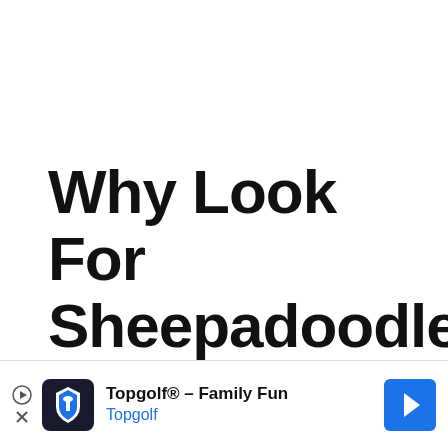Why Look For Sheepadoodle Pu...
[Figure (screenshot): Advertisement banner for Topgolf - Family Fun, showing Topgolf logo, play and close buttons, and a navigation arrow icon]